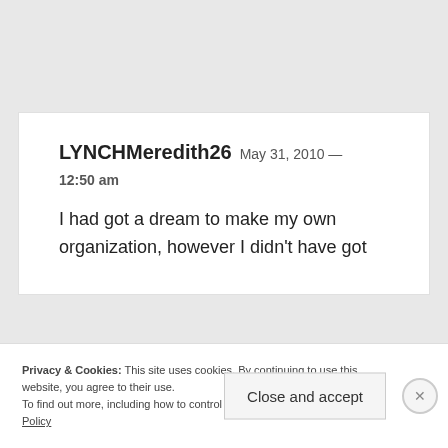LYNCHMeredith26  May 31, 2010 — 12:50 am
I had got a dream to make my own organization, however I didn't have got
Privacy & Cookies: This site uses cookies. By continuing to use this website, you agree to their use. To find out more, including how to control cookies, see here: Cookie Policy
Close and accept